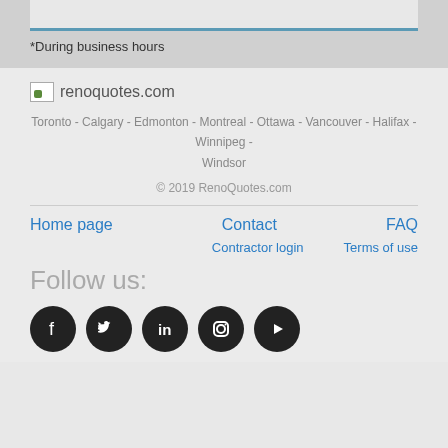*During business hours
[Figure (logo): renoquotes.com logo with small image icon]
Toronto - Calgary - Edmonton - Montreal - Ottawa - Vancouver - Halifax - Winnipeg - Windsor
© 2019 RenoQuotes.com
Home page   Contact   FAQ
Contractor login   Terms of use
Follow us:
[Figure (illustration): Social media icons: Facebook, Twitter, LinkedIn, Instagram, YouTube]